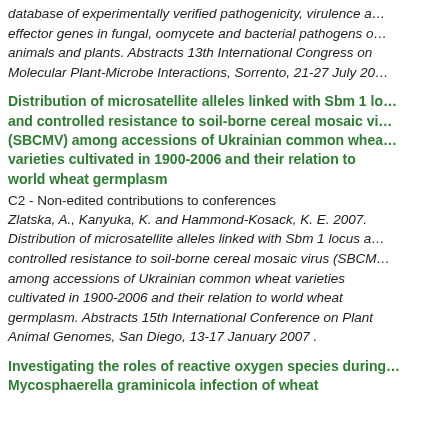database of experimentally verified pathogenicity, virulence and effector genes in fungal, oomycete and bacterial pathogens of animals and plants. Abstracts 13th International Congress on Molecular Plant-Microbe Interactions, Sorrento, 21-27 July 20...
Distribution of microsatellite alleles linked with Sbm 1 locus and controlled resistance to soil-borne cereal mosaic virus (SBCMV) among accessions of Ukrainian common wheat varieties cultivated in 1900-2006 and their relation to world wheat germplasm
C2 - Non-edited contributions to conferences
Zlatska, A., Kanyuka, K. and Hammond-Kosack, K. E. 2007. Distribution of microsatellite alleles linked with Sbm 1 locus and controlled resistance to soil-borne cereal mosaic virus (SBCMV) among accessions of Ukrainian common wheat varieties cultivated in 1900-2006 and their relation to world wheat germplasm. Abstracts 15th International Conference on Plant Animal Genomes, San Diego, 13-17 January 2007 .
Investigating the roles of reactive oxygen species during Mycosphaerella graminicola infection of wheat